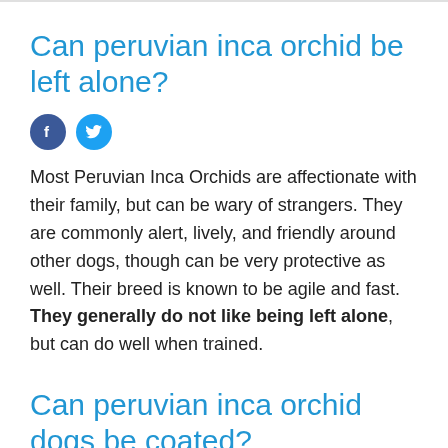Can peruvian inca orchid be left alone?
[Figure (other): Social media share icons: Facebook (blue circle with f) and Twitter (light blue circle with bird)]
Most Peruvian Inca Orchids are affectionate with their family, but can be wary of strangers. They are commonly alert, lively, and friendly around other dogs, though can be very protective as well. Their breed is known to be agile and fast. They generally do not like being left alone, but can do well when trained.
Can peruvian inca orchid dogs be coated?